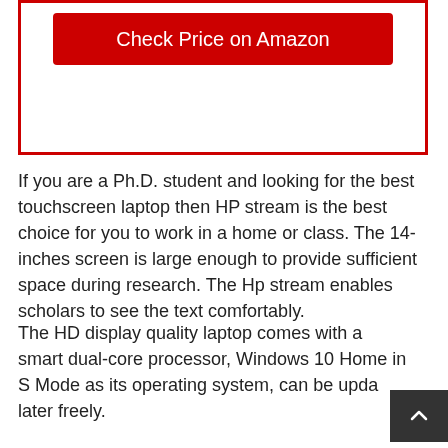[Figure (other): Red bordered box with 'Check Price on Amazon' red button inside]
If you are a Ph.D. student and looking for the best touchscreen laptop then HP stream is the best choice for you to work in a home or class. The 14-inches screen is large enough to provide sufficient space during research. The Hp stream enables scholars to see the text comfortably.
The HD display quality laptop comes with a smart dual-core processor, Windows 10 Home in S Mode as its operating system, can be upda later freely.